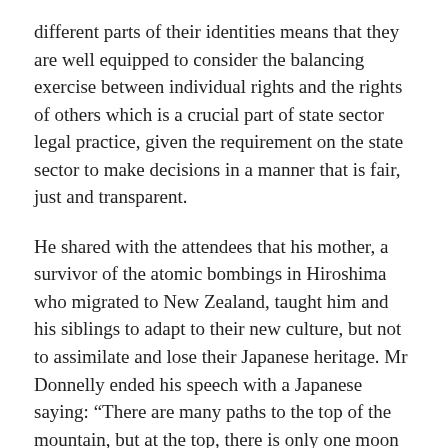different parts of their identities means that they are well equipped to consider the balancing exercise between individual rights and the rights of others which is a crucial part of state sector legal practice, given the requirement on the state sector to make decisions in a manner that is fair, just and transparent.
He shared with the attendees that his mother, a survivor of the atomic bombings in Hiroshima who migrated to New Zealand, taught him and his siblings to adapt to their new culture, but not to assimilate and lose their Japanese heritage. Mr Donnelly ended his speech with a Japanese saying: “There are many paths to the top of the mountain, but at the top, there is only one moon to behold.”
Lawyers engaged by Asian clients